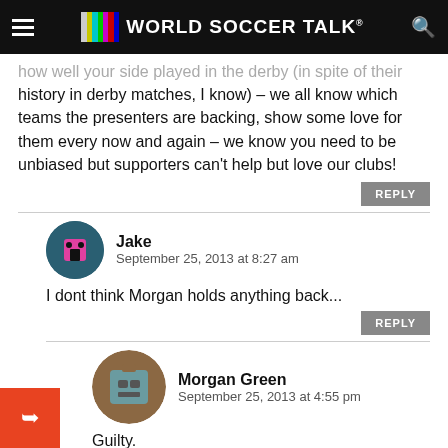World Soccer Talk
history in derby matches, I know) – we all know which teams the presenters are backing, show some love for them every now and again – we know you need to be unbiased but supporters can't help but love our clubs!
Jake
September 25, 2013 at 8:27 am
I dont think Morgan holds anything back...
Morgan Green
September 25, 2013 at 4:55 pm
Guilty.